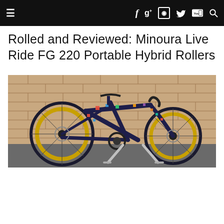Navigation bar with hamburger menu, social icons: Facebook, Google+, Instagram, Twitter, YouTube, Search
Rolled and Reviewed: Minoura Live Ride FG 220 Portable Hybrid Rollers
[Figure (photo): A road bicycle with a colorful decal pattern on a dark blue frame, leaning against a brick wall on rollers/stand, photographed outdoors on a gray pavement.]